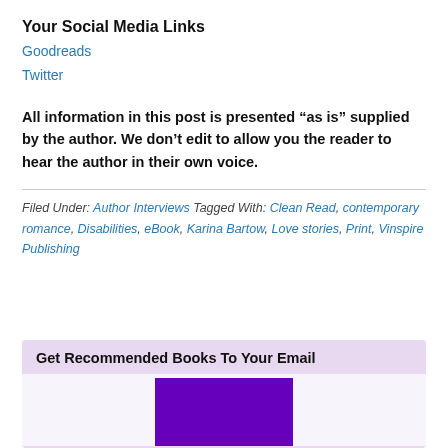Your Social Media Links
Goodreads
Twitter
All information in this post is presented “as is” supplied by the author. We don’t edit to allow you the reader to hear the author in their own voice.
Filed Under: Author Interviews Tagged With: Clean Read, contemporary romance, Disabilities, eBook, Karina Bartow, Love stories, Print, Vinspire Publishing
Get Recommended Books To Your Email
[Figure (other): Purple promotional image block]